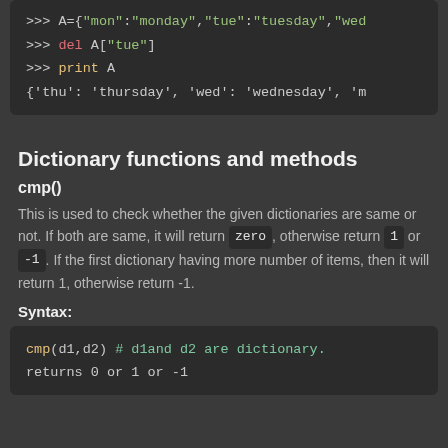[Figure (screenshot): Dark-themed code block showing Python dictionary operations: A={"mon":"monday","tue":"tuesday","wed...}, del A["tue"], print A, and output {'thu': 'thursday', 'wed': 'wednesday', 'm...]
Dictionary functions and methods
cmp()
This is used to check whether the given dictionaries are same or not. If both are same, it will return zero, otherwise return 1 or -1. If the first dictionary having more number of items, then it will return 1, otherwise return -1.
Syntax:
[Figure (screenshot): Dark-themed code block showing: cmp(d1,d2) # d1and d2 are dictionary. / returns 0 or 1 or -1]